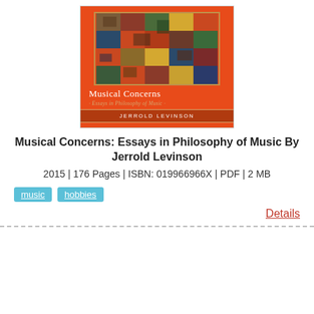[Figure (illustration): Book cover of 'Musical Concerns: Essays in Philosophy of Music' by Jerrold Levinson. Orange background with a mosaic-style abstract painting, title text and author name displayed.]
Musical Concerns: Essays in Philosophy of Music By Jerrold Levinson
2015 | 176 Pages | ISBN: 019966966X | PDF | 2 MB
music
hobbies
Details